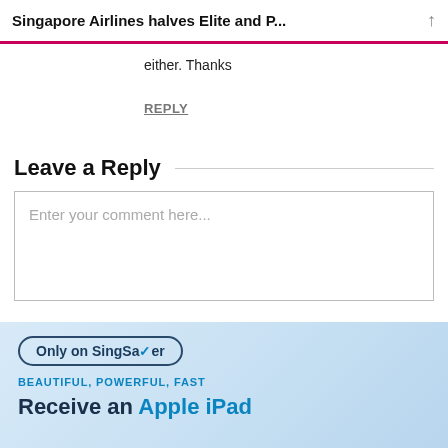Singapore Airlines halves Elite and P...
either. Thanks
REPLY
Leave a Reply
Enter your comment here...
[Figure (infographic): Advertisement banner for SingSaver with text: Only on SingSaver, BEAUTIFUL, POWERFUL, FAST, Receive an Apple iPad 8th Gen worth $499]